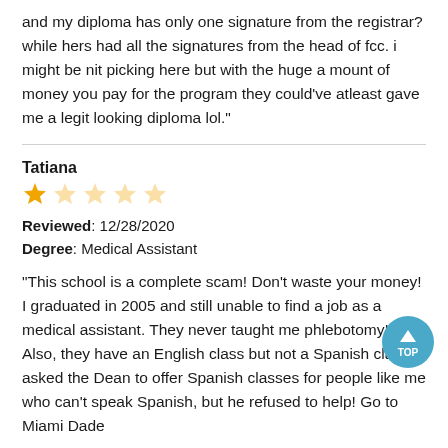and my diploma has only one signature from the registrar? while hers had all the signatures from the head of fcc. i might be nit picking here but with the huge a mount of money you pay for the program they could've atleast gave me a legit looking diploma lol."
Tatiana
[Figure (other): Star rating: 1 out of 5 stars (one filled star, four empty/faded stars)]
Reviewed: 12/28/2020
Degree: Medical Assistant
"This school is a complete scam! Don't waste your money! I graduated in 2005 and still unable to find a job as a medical assistant. They never taught me phlebotomy!! Also, they have an English class but not a Spanish class. I asked the Dean to offer Spanish classes for people like me who can't speak Spanish, but he refused to help! Go to Miami Dade